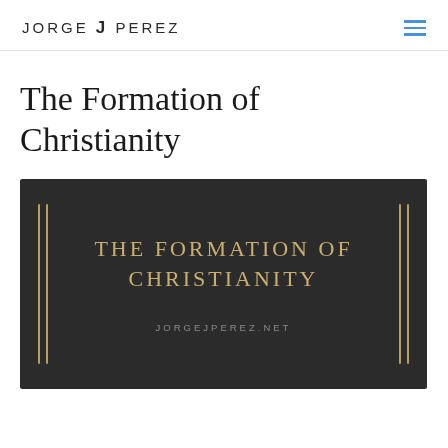JORGE J PEREZ
The Formation of Christianity
[Figure (illustration): Dark banner image with gold/khaki colored text reading 'THE FORMATION OF CHRISTIANITY' in uppercase serif letters, flanked by two vertical gold lines on each side, with 'JORGEJPEREZ.NET' in small uppercase letters below]